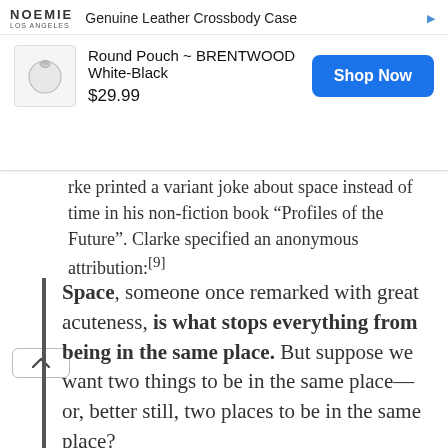[Figure (screenshot): Advertisement banner for Noemie Genuine Leather Crossbody Case showing a Round Pouch BRENTWOOD White-Black priced at $29.99 with a Shop Now button]
rke printed a variant joke about space instead of time in his non-fiction book “Profiles of the Future”. Clarke specified an anonymous attribution:[9]
Space, someone once remarked with great acuteness, is what stops everything from being in the same place. But suppose we want two things to be in the same place—or, better still, two places to be in the same place?
The idea that space is fixed, invariant, and absolute has taken a beating during